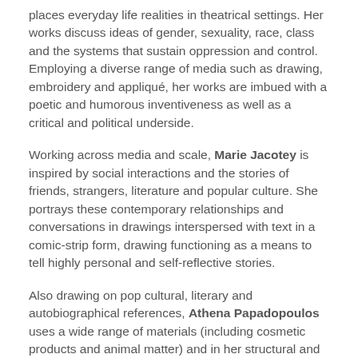places everyday life realities in theatrical settings. Her works discuss ideas of gender, sexuality, race, class and the systems that sustain oppression and control. Employing a diverse range of media such as drawing, embroidery and appliqué, her works are imbued with a poetic and humorous inventiveness as well as a critical and political underside.
Working across media and scale, Marie Jacotey is inspired by social interactions and the stories of friends, strangers, literature and popular culture. She portrays these contemporary relationships and conversations in drawings interspersed with text in a comic-strip form, drawing functioning as a means to tell highly personal and self-reflective stories.
Also drawing on pop cultural, literary and autobiographical references, Athena Papadopoulos uses a wide range of materials (including cosmetic products and animal matter) and in her structural and collage works. Combining these with found text and image, she weaves herself as subject into a narrative thread that explores issues around contemporary